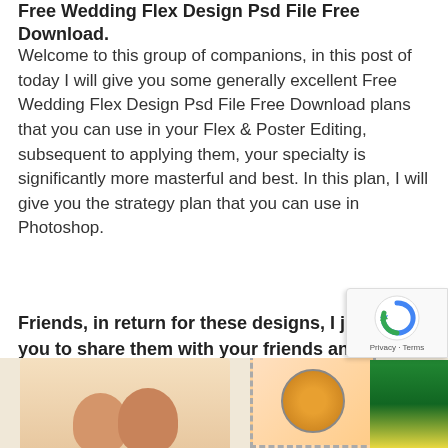Free Wedding Flex Design Psd File Free Download.
Welcome to this group of companions, in this post of today I will give you some generally excellent Free Wedding Flex Design Psd File Free Download plans that you can use in your Flex & Poster Editing, subsequent to applying them, your specialty is significantly more masterful and best. In this plan, I will give you the strategy plan that you can use in Photoshop.
Friends, in return for these designs, I just want you to share them with your friends and tell everyone about this website.
[Figure (photo): Bottom strip showing wedding-related images: people portraits on the left, a stamp-style image in the middle, and a green-themed image on the right. A reCAPTCHA badge appears in the bottom right corner.]